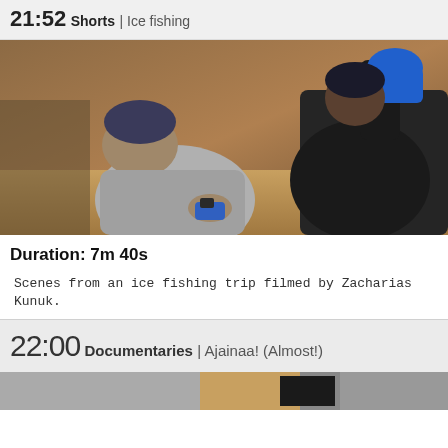21:52 Shorts | Ice fishing
[Figure (photo): Two people inside an ice fishing shelter. The person on the left wearing a gray puffer jacket and knit hat is bent over, working on something. The person on the right in a dark jacket is holding a blue container. Sandy/wooden floor visible.]
Duration: 7m 40s
Scenes from an ice fishing trip filmed by Zacharias Kunuk.
22:00 Documentaries | Ajainaa! (Almost!)
[Figure (photo): Partial view of another scene at bottom of page.]